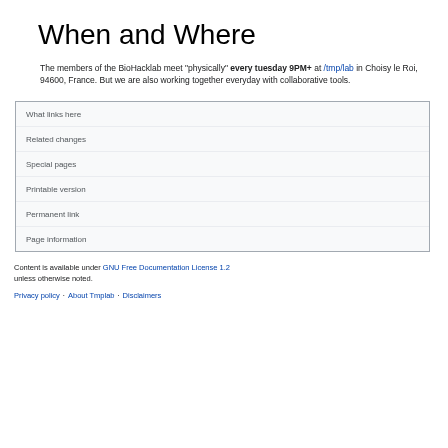When and Where
The members of the BioHacklab meet "physically" every tuesday 9PM+ at /tmp/lab in Choisy le Roi, 94600, France. But we are also working together everyday with collaborative tools.
What links here
Related changes
Special pages
Printable version
Permanent link
Page information
Content is available under GNU Free Documentation License 1.2 unless otherwise noted.
Privacy policy · About Tmplab · Disclaimers